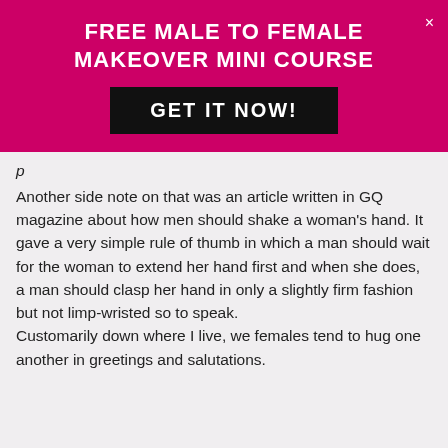FREE MALE TO FEMALE MAKEOVER MINI COURSE
GET IT NOW!
Another side note on that was an article written in GQ magazine about how men should shake a woman’s hand. It gave a very simple rule of thumb in which a man should wait for the woman to extend her hand first and when she does, a man should clasp her hand in only a slightly firm fashion but not limp-wristed so to speak.
Customarily down where I live, we females tend to hug one another in greetings and salutations.